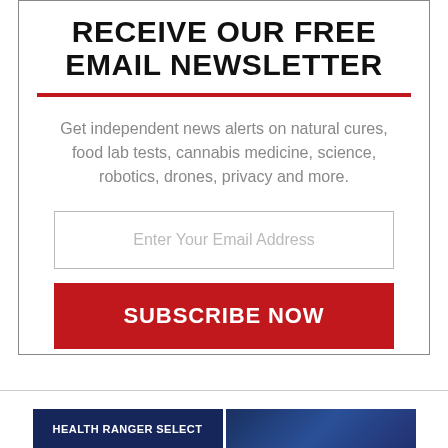RECEIVE OUR FREE EMAIL NEWSLETTER
Get independent news alerts on natural cures, food lab tests, cannabis medicine, science, robotics, drones, privacy and more.
[Figure (other): Email input field with placeholder text 'Enter Your Email Address']
[Figure (other): Red subscribe button with text 'SUBSCRIBE NOW']
[Figure (other): Bottom banner with 'HEALTH RANGER SELECT' dark blue label on left and a dark blue image on right]